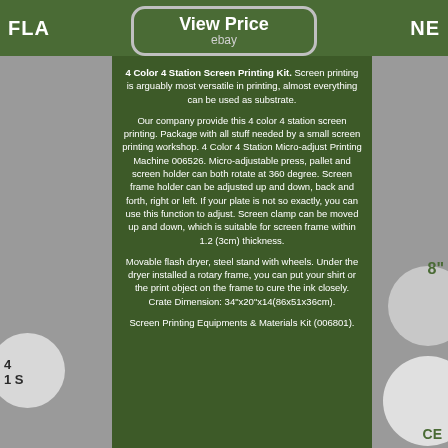FLA... ...NE
[Figure (screenshot): View Price button with eBay label on green background]
4 Color 4 Station Screen Printing Kit. Screen printing is arguably most versatile in printing, almost everything can be used as substrate.
Our company provide this 4 color 4 station screen printing. Package with all stuff needed by a small screen printing workshop. 4 Color 4 Station Micro-adjust Printing Machine 006526. Micro-adjustable press, pallet and screen holder can both rotate at 360 degree. Screen frame holder can be adjusted up and down, back and forth, right or left. If your plate is not so exactly, you can use this function to adjust. Screen clamp can be moved up and down, which is suitable for screen frame within 1.2 (3cm) thickness.
Movable flash dryer, steel stand with wheels. Under the dryer installed a rotary frame, you can put your shirt or the print object on the frame to cure the ink closely. Crate Dimension: 34"x20"x14(86x51x36cm).
Screen Printing Equipments & Materials Kit (006801).